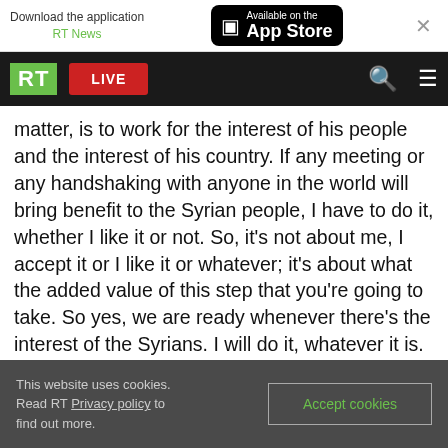Download the application RT News | Available on the App Store
[Figure (screenshot): RT News navigation bar with green RT logo, red LIVE button, search icon, and hamburger menu on black background]
matter, is to work for the interest of his people and the interest of his country. If any meeting or any handshaking with anyone in the world will bring benefit to the Syrian people, I have to do it, whether I like it or not. So, it’s not about me, I accept it or I like it or whatever; it’s about what the added value of this step that you’re going to take. So yes, we are ready whenever there’s the interest of the Syrians. I will do it, whatever it is.
Question 13: Regarding alliances in the fight
This website uses cookies. Read RT Privacy policy to find out more.
Accept cookies